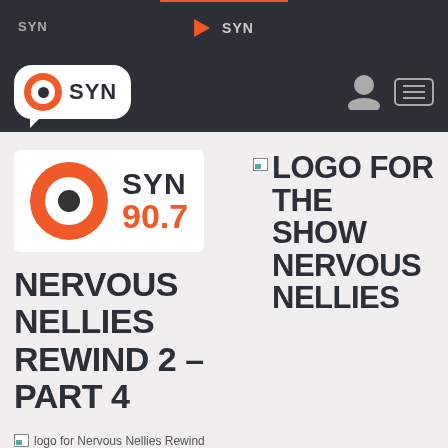SYN | SYN
[Figure (logo): SYN radio logo in nav bar - circular record icon with SYN text in speech bubble]
[Figure (logo): SYN 90.7 station logo - orange circle with SYN text and 90.7 frequency]
NERVOUS NELLIES REWIND 2 – PART 4
[Figure (photo): Logo for the show Nervous Nellies - broken image placeholder showing alt text]
logo for Nervous Nellies Rewind